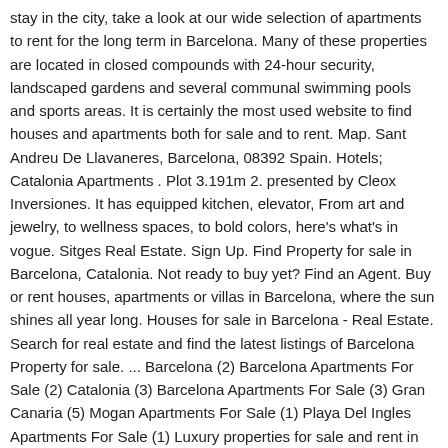stay in the city, take a look at our wide selection of apartments to rent for the long term in Barcelona. Many of these properties are located in closed compounds with 24-hour security, landscaped gardens and several communal swimming pools and sports areas. It is certainly the most used website to find houses and apartments both for sale and to rent. Map. Sant Andreu De Llavaneres, Barcelona, 08392 Spain. Hotels; Catalonia Apartments . Plot 3.191m 2. presented by Cleox Inversiones. It has equipped kitchen, elevator, From art and jewelry, to wellness spaces, to bold colors, here's what's in vogue. Sitges Real Estate. Sign Up. Find Property for sale in Barcelona, Catalonia. Not ready to buy yet? Find an Agent. Buy or rent houses, apartments or villas in Barcelona, where the sun shines all year long. Houses for sale in Barcelona - Real Estate. Search for real estate and find the latest listings of Barcelona Property for sale. ... Barcelona (2) Barcelona Apartments For Sale (2) Catalonia (3) Barcelona Apartments For Sale (3) Gran Canaria (5) Mogan Apartments For Sale (1) Playa Del Ingles Apartments For Sale (1) Luxury properties for sale and rent in Barcelona, Costa Brava, Maresme, Sitges, Valencia, Madrid, Ibiza, Gavà, Andorra and Portugal - Lucas Fox This website uses cookies to ... Spain Property, is a property website for thousands of Spanish properties,